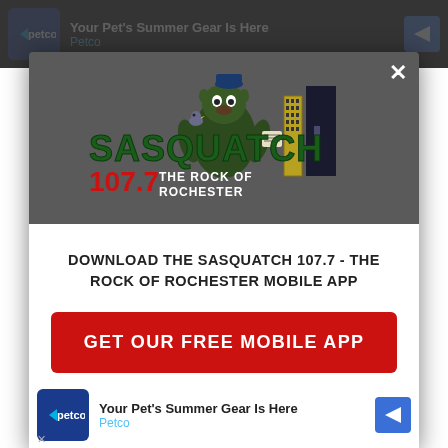[Figure (screenshot): Top advertisement banner for Petco: 'Your Pet's Summer Gear Is Here' with Petco logo and navigation arrow icon]
[Figure (logo): Sasquatch 107.7 The Rock of Rochester radio station logo with cartoon sasquatch character and city skyline]
DOWNLOAD THE SASQUATCH 107.7 - THE ROCK OF ROCHESTER MOBILE APP
GET OUR FREE MOBILE APP
Also listen on: amazon alexa
[Figure (screenshot): Bottom advertisement banner for Petco: 'Your Pet's Summer Gear Is Here' with Petco logo and navigation arrow icon]